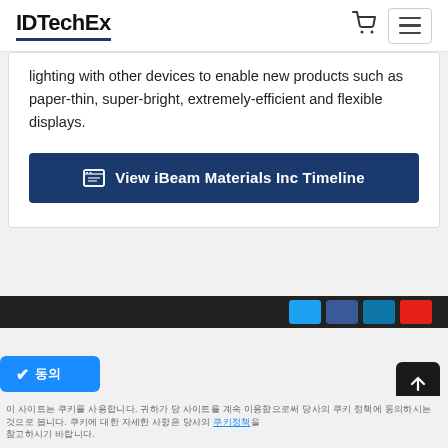IDTechEx
lighting with other devices to enable new products such as paper-thin, super-bright, extremely-efficient and flexible displays.
View iBeam Materials Inc Timeline
이 사이트는 쿠키를 사용합니다. 귀하가 당 사이트를 계속 이용함으로써 당사의 쿠키 정책에 동의하시는 것으로 봅니다.